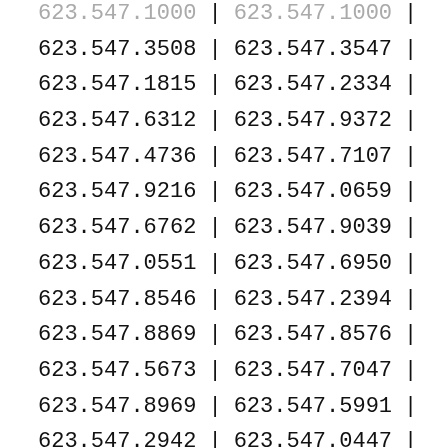| col1 | sep | col2 | sep2 |
| --- | --- | --- | --- |
| 623.547.1000 | | | 623.547.1000 | | |
| 623.547.3508 | | | 623.547.3547 | | |
| 623.547.1815 | | | 623.547.2334 | | |
| 623.547.6312 | | | 623.547.9372 | | |
| 623.547.4736 | | | 623.547.7107 | | |
| 623.547.9216 | | | 623.547.0659 | | |
| 623.547.6762 | | | 623.547.9039 | | |
| 623.547.0551 | | | 623.547.6950 | | |
| 623.547.8546 | | | 623.547.2394 | | |
| 623.547.8869 | | | 623.547.8576 | | |
| 623.547.5673 | | | 623.547.7047 | | |
| 623.547.8969 | | | 623.547.5991 | | |
| 623.547.2942 | | | 623.547.0447 | | |
| 623.547.0126 | | | 623.547.6166 | | |
| 623.547.0905 | | | 623.547.8200 | | |
| 623.547.5323 | | | 623.547.5126 | | |
| 623.547.2883 | | | 623.547.1134 | | |
| 623.547.0646 | | | 623.547.8818 | | |
| 623.547.9062 | | | 623.547.1211 | | |